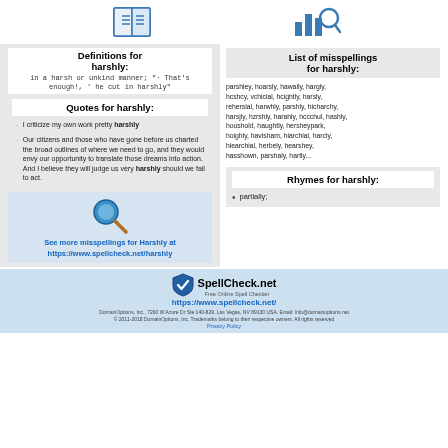[Figure (illustration): Icon of an open book with lines (document) on the left, icon of a bar chart with magnifying glass on the right]
Definitions for harshly:
List of misspellings for harshly:
in a harsh or unkind manner; " That's enough!, ' he cut in harshly"
parshley, hoarsly, hawaily, hargly, hcshcy, vchicial, hcightly, harsly, rehersial, harwhly, parshly, hicharchy, harsjiy, hzrshly, harahly, hccchul, hashly, houshold, haughtly, hersheypark, hoighly, havisham, hiarchial, harcly, hiearchial, herbely, hearshey, hasshown, parshaly, hartly...
Quotes for harshly:
I criticize my own work pretty harshly
Our citizens and those who have gone before us charted the broad outlines of where we need to go, and they would envy our opportunity to translate those dreams into action. And I believe they will judge us very harshly should we fail to act.
[Figure (illustration): Blue magnifying glass icon]
See more misspellings for Harshly at https://www.spellcheck.net/harshly
Rhymes for harshly:
partially;
[Figure (logo): SpellCheck.net logo with shield/checkmark icon]
SpellCheck.net
Free Online Spell Checker
https://www.spellcheck.net/
DomainOptions, Inc., 7260 W Azure Dr Ste 140-829, Las Vegas, NV 89130 USA. Email: info@domainoptions.net
© 2011-2018 DomainOptions, Inc. Trademarks belong to their respective owners. All rights reserved
Privacy Policy